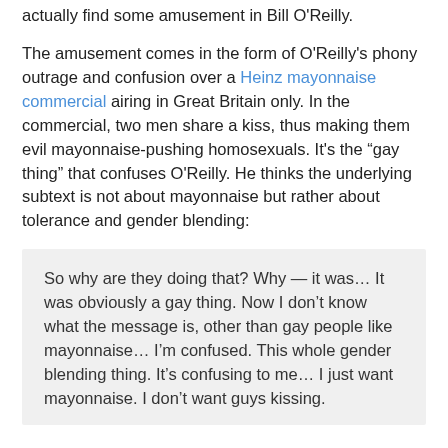actually find some amusement in Bill O'Reilly.
The amusement comes in the form of O'Reilly's phony outrage and confusion over a Heinz mayonnaise commercial airing in Great Britain only. In the commercial, two men share a kiss, thus making them evil mayonnaise-pushing homosexuals. It's the “gay thing” that confuses O'Reilly. He thinks the underlying subtext is not about mayonnaise but rather about tolerance and gender blending:
So why are they doing that? Why — it was… It was obviously a gay thing. Now I don’t know what the message is, other than gay people like mayonnaise… I’m confused. This whole gender blending thing. It’s confusing to me… I just want mayonnaise. I don’t want guys kissing.